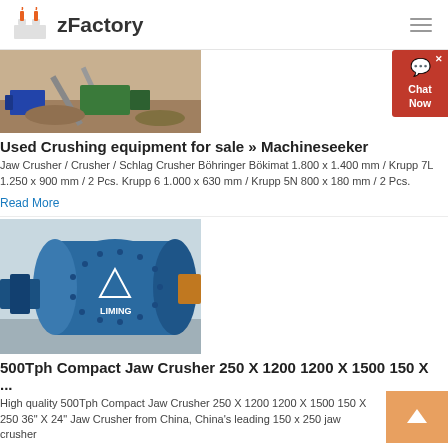zFactory
[Figure (photo): Industrial crushing equipment at a facility, showing conveyors and machinery with dirt/aggregate piles]
Used Crushing equipment for sale » Machineseeker
Jaw Crusher / Crusher / Schlag Crusher Böhringer Bökimat 1.800 x 1.400 mm / Krupp 7L 1.250 x 900 mm / 2 Pcs. Krupp 6 1.000 x 630 mm / Krupp 5N 800 x 180 mm / 2 Pcs.
Read More
[Figure (photo): Blue industrial ball mill machine branded LIMING]
500Tph Compact Jaw Crusher 250 X 1200 1200 X 1500 150 X ...
High quality 500Tph Compact Jaw Crusher 250 X 1200 1200 X 1500 150 X 250 36" X 24" Jaw Crusher from China, China's leading 150 x 250 jaw crusher